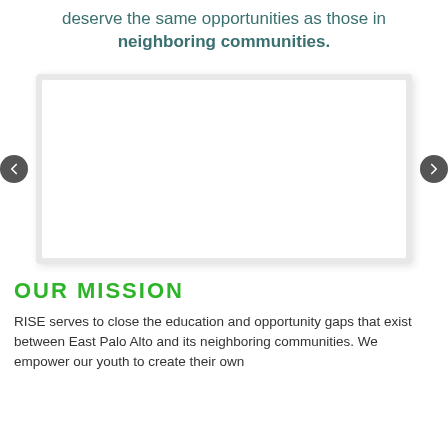deserve the same opportunities as those in neighboring communities.
[Figure (other): Slideshow image carousel with left and right navigation arrows and an empty white slide frame]
OUR MISSION
RISE serves to close the education and opportunity gaps that exist between East Palo Alto and its neighboring communities. We empower our youth to create their own